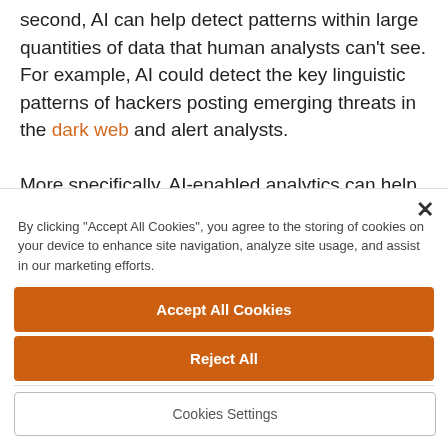second, AI can help detect patterns within large quantities of data that human analysts can't see. For example, AI could detect the key linguistic patterns of hackers posting emerging threats in the dark web and alert analysts.

More specifically, AI-enabled analytics can help discern the jargon and code words hackers develop to refer to their new tools, techniques and
By clicking "Accept All Cookies", you agree to the storing of cookies on your device to enhance site navigation, analyze site usage, and assist in our marketing efforts.
Accept All Cookies
Reject All
Cookies Settings